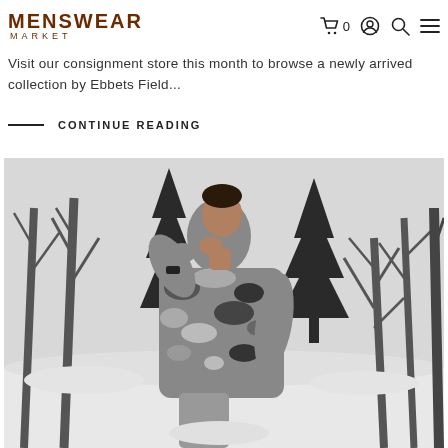MENSWEAR MARKET
Visit our consignment store this month to browse a newly arrived collection by Ebbets Field...
CONTINUE READING
[Figure (photo): Man wearing a camouflage patterned jacket standing in a snowy winter landscape with bare trees in the background]